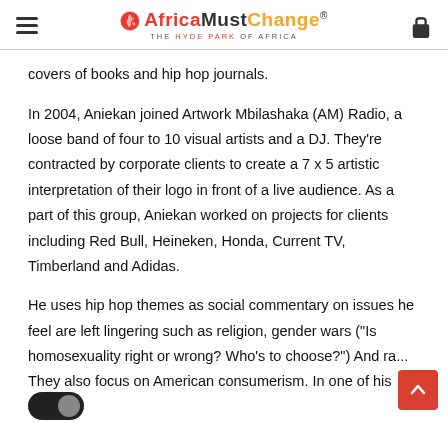AfricaMustChange® — THE HYDE PARK OF AFRICA
covers of books and hip hop journals.
In 2004, Aniekan joined Artwork Mbilashaka (AM) Radio, a loose band of four to 10 visual artists and a DJ. They're contracted by corporate clients to create a 7 x 5 artistic interpretation of their logo in front of a live audience. As a part of this group, Aniekan worked on projects for clients including Red Bull, Heineken, Honda, Current TV, Timberland and Adidas.
He uses hip hop themes as social commentary on issues he feel are left lingering such as religion, gender wars ("Is homosexuality right or wrong? Who's to choose?") And ra... They also focus on American consumerism. In one of his